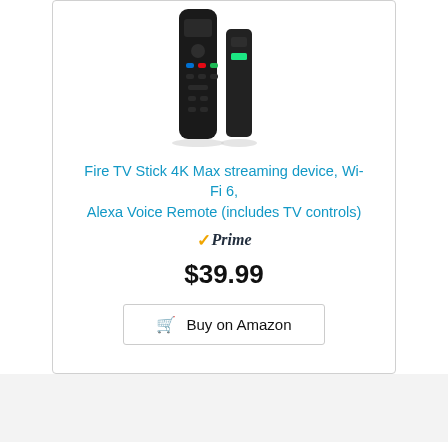[Figure (photo): Amazon Fire TV Stick 4K Max product image showing the streaming device and Alexa Voice Remote in black]
Fire TV Stick 4K Max streaming device, Wi-Fi 6, Alexa Voice Remote (includes TV controls)
✓Prime
$39.99
🛒 Buy on Amazon
Disclaimer
All the information provided on this site are for educational purposes only. Kodi-Guide.com